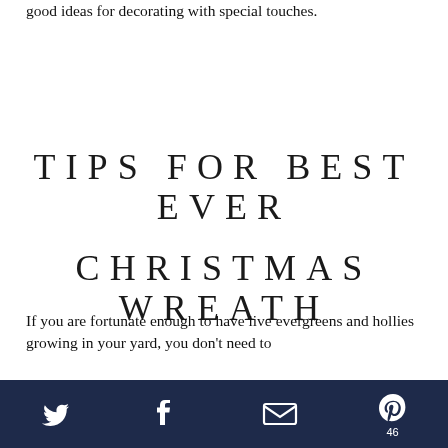good ideas for decorating with special touches.
TIPS FOR BEST EVER CHRISTMAS WREATH
If you are fortunate enough to have live evergreens and hollies growing in your yard, you don't need to
Twitter | Facebook | Email | Pinterest 46